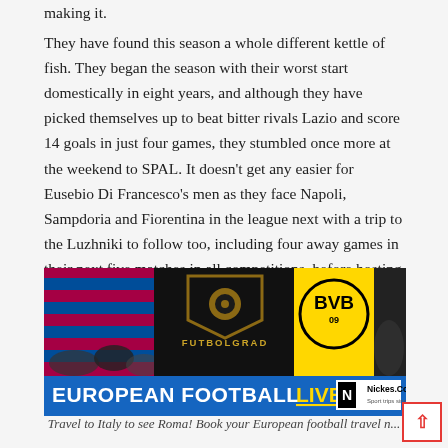making it.
They have found this season a whole different kettle of fish. They began the season with their worst start domestically in eight years, and although they have picked themselves up to beat bitter rivals Lazio and score 14 goals in just four games, they stumbled once more at the weekend to SPAL. It doesn't get any easier for Eusebio Di Francesco's men as they face Napoli, Sampdoria and Fiorentina in the league next with a trip to the Luzhniki to follow too, including four away games in their next five matches in all competitions, before hosting Real Madrid and Inter.
[Figure (photo): FUTBOLGRAD advertisement banner with football fan imagery including FC Barcelona and BVB Borussia Dortmund fans, with text EUROPEAN FOOTBALL LIVE! and Nickes.Com Sport trips since 1997]
Travel to Italy to see Roma! Book your European football travel n... by visiting Nickes!